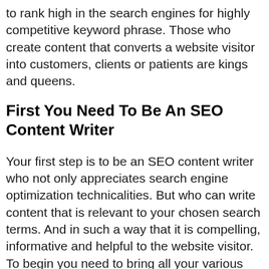to rank high in the search engines for highly competitive keyword phrase. Those who create content that converts a website visitor into customers, clients or patients are kings and queens.
First You Need To Be An SEO Content Writer
Your first step is to be an SEO content writer who not only appreciates search engine optimization technicalities. But who can write content that is relevant to your chosen search terms. And in such a way that it is compelling, informative and helpful to the website visitor. To begin you need to bring all your various